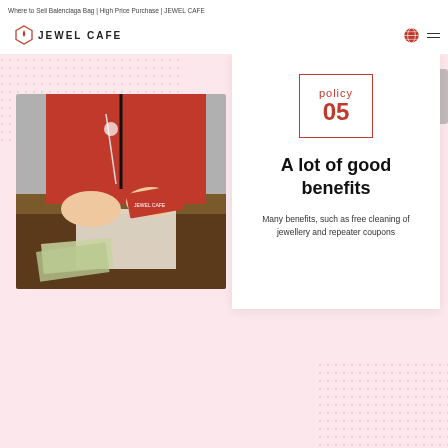Where to Sell Balenciaga Bag | High Price Purchase | JEWEL CAFE
[Figure (logo): JEWEL CAFE logo — red hexagonal icon with flame symbol and text JEWEL CAFE]
[Figure (photo): Staff member in red JEWEL CAFE uniform handing a red loyalty card across a counter with paperwork and Japanese yen bills]
policy
05
A lot of good benefits
Many benefits, such as free cleaning of jewellery and repeater coupons